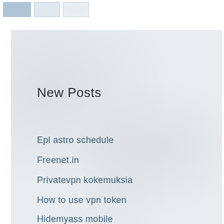[Figure (other): Three small image placeholder boxes in a row at the top of the page]
New Posts
Epl astro schedule
Freenet.in
Privatevpn kokemuksia
How to use vpn token
Hidemyass mobile
Top Posts